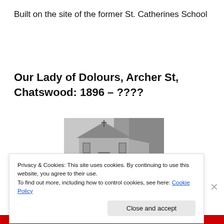Built on the site of the former St. Catherines School
Our Lady of Dolours, Archer St, Chatswood: 1896 – ????
[Figure (photo): Black and white historical photograph of Our Lady of Dolours church building in Chatswood, showing a wooden church with a cross on the gable end, surrounded by trees.]
Privacy & Cookies: This site uses cookies. By continuing to use this website, you agree to their use.
To find out more, including how to control cookies, see here: Cookie Policy